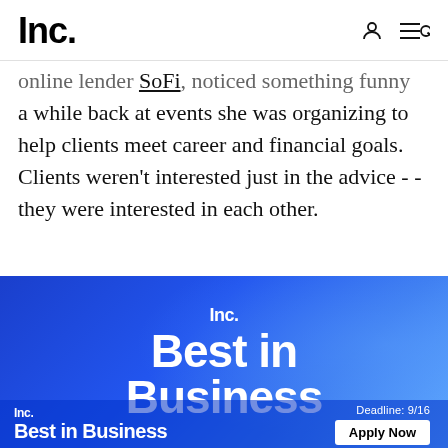Inc.
online lender SoFi, noticed something funny a while back at events she was organizing to help clients meet career and financial goals. Clients weren't interested just in the advice -- they were interested in each other.
[Figure (infographic): Inc. Best in Business advertisement banner with blue gradient background. Top section shows 'Inc.' logo and large bold text 'Best in Business'. Bottom bar shows 'Inc. Best in Business' on left, 'Deadline: 9/16' and 'Apply Now' button on right.]